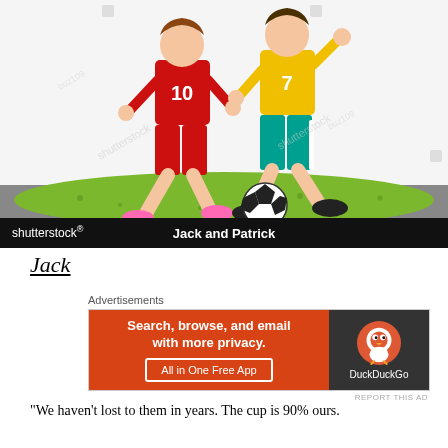[Figure (illustration): Shutterstock illustration of two cartoon soccer players (one in red jersey #10, one in yellow jersey #7) competing for a soccer ball on a green oval pitch. Caption bar at bottom reads 'Jack and Patrick' with Shutterstock branding.]
Jack and Patrick
Jack
[Figure (other): DuckDuckGo advertisement: 'Search, browse, and email with more privacy. All in One Free App' on orange background with DuckDuckGo logo on dark background.]
“We haven’t lost to them in years. The cup is 90% ours.